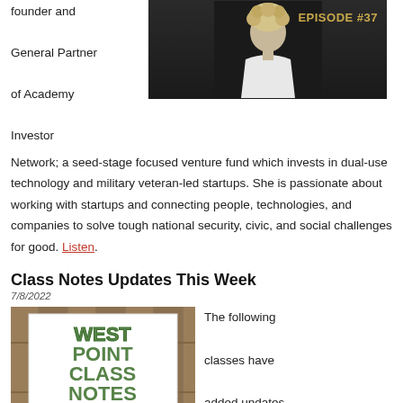founder and General Partner of Academy Investor Network; a seed-stage focused venture fund which invests in dual-use technology and military veteran-led startups. She is passionate about working with startups and connecting people, technologies, and companies to solve tough national security, civic, and social challenges for good. Listen.
[Figure (photo): Episode #37 podcast thumbnail showing a woman with curly blonde hair against a black background, with 'EPISODE #37' text in gold]
Class Notes Updates This Week
7/8/2022
[Figure (photo): West Point Class Notes sign with military camouflage lettering on a white board, mounted on a wooden fence]
The following classes have added updates this week to their Class Notes